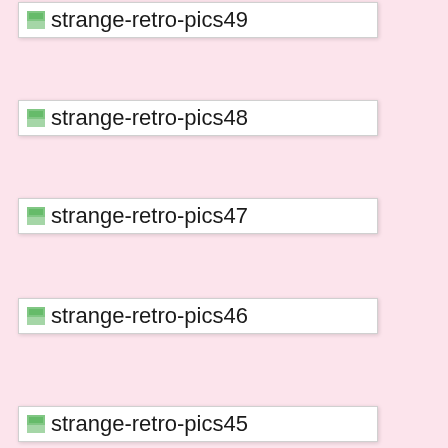[Figure (other): Thumbnail link for strange-retro-pics49]
[Figure (other): Thumbnail link for strange-retro-pics48]
[Figure (other): Thumbnail link for strange-retro-pics47]
[Figure (other): Thumbnail link for strange-retro-pics46]
[Figure (other): Thumbnail link for strange-retro-pics45]